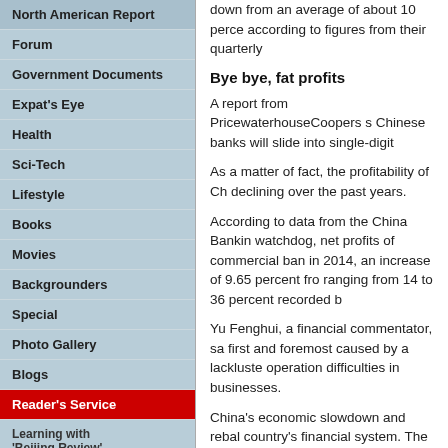North American Report
Forum
Government Documents
Expat's Eye
Health
Sci-Tech
Lifestyle
Books
Movies
Backgrounders
Special
Photo Gallery
Blogs
Reader's Service
Learning with 'Beijing Review'
down from an average of about 10 percent, according to figures from their quarterly
Bye bye, fat profits
A report from PricewaterhouseCoopers says Chinese banks will slide into single-digit
As a matter of fact, the profitability of Chinese banks has been declining over the past years.
According to data from the China Banking watchdog, net profits of commercial banks in 2014, an increase of 9.65 percent from ranging from 14 to 36 percent recorded b
Yu Fenghui, a financial commentator, says first and foremost caused by a lackluster operation difficulties in businesses.
China's economic slowdown and rebalancing country's financial system. The world's s year on year in the first quarter, the lowest